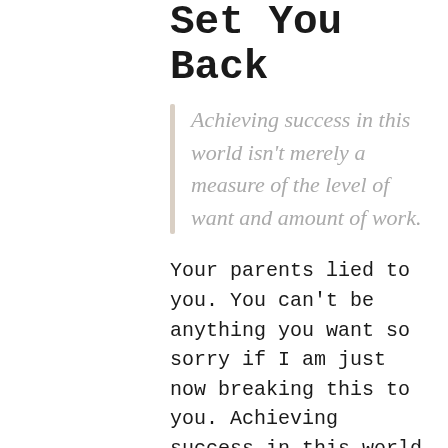Set You Back
Achieving success in this world isn't merely a measure of the level of want and amount of work.
Your parents lied to you. You can't be anything you want so sorry if I am just now breaking this to you. Achieving success in this world isn't merely a measure of the level of want and amount of work. It doesn't work that way. Once again, anyone who